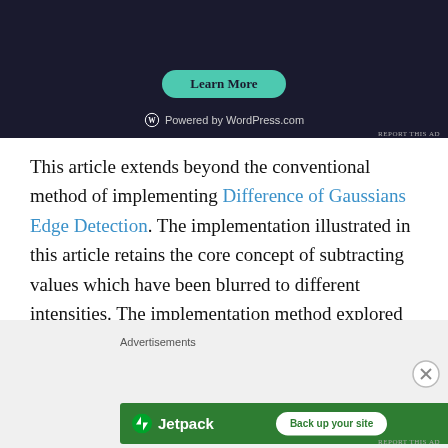[Figure (screenshot): Dark-background advertisement banner showing a 'Learn More' teal button and 'Powered by WordPress.com' text at bottom]
REPORT THIS AD
This article extends beyond the conventional method of implementing Difference of Gaussians Edge Detection. The implementation illustrated in this article retains the core concept of subtracting values which have been blurred to different intensities. The implementation method explored here differs from the conventional method in the sense that the matrix kernels implemented do not differ in size. Both matrix kernels are in fact required to have the same size dimensions.
Advertisements
[Figure (screenshot): Jetpack advertisement banner on green background with 'Back up your site' white button]
REPORT THIS AD